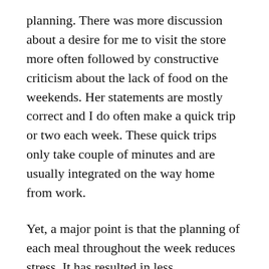planning. There was more discussion about a desire for me to visit the store more often followed by constructive criticism about the lack of food on the weekends. Her statements are mostly correct and I do often make a quick trip or two each week. These quick trips only take couple of minutes and are usually integrated on the way home from work.
Yet, a major point is that the planning of each meal throughout the week reduces stress. It has resulted in less inappropriate binge eating. Additionally, I spend less time in the store because I know what is needed. Now, if you will excuse me, I need to go to the store and buy some extra bananas.